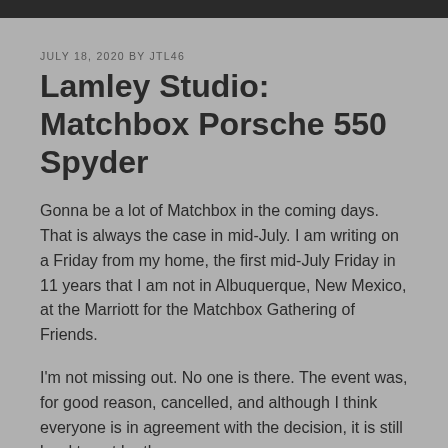JULY 18, 2020 BY JTL46
Lamley Studio: Matchbox Porsche 550 Spyder
Gonna be a lot of Matchbox in the coming days. That is always the case in mid-July. I am writing on a Friday from my home, the first mid-July Friday in 11 years that I am not in Albuquerque, New Mexico, at the Marriott for the Matchbox Gathering of Friends.
I'm not missing out. No one is there. The event was, for good reason, cancelled, and although I think everyone is in agreement with the decision, it is still hard to not be there.
But the show must go on, so virtual it becomes. Attendees get to watch the 2021 Matchbox Preview via Zoom today, and I will